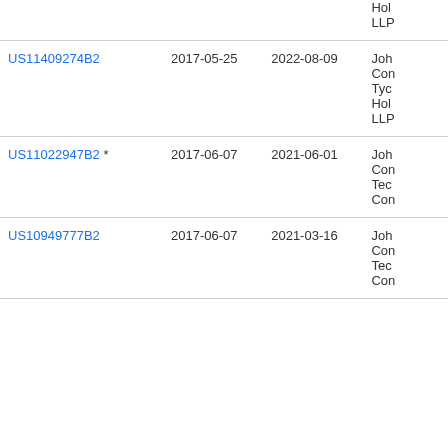| Patent | Filed | Published | Owner |
| --- | --- | --- | --- |
|  |  |  | Hol
LLP |
| US11409274B2 | 2017-05-25 | 2022-08-09 | Joh
Con
Tyc
Hol
LLP |
| US11022947B2 * | 2017-06-07 | 2021-06-01 | Joh
Con
Tec
Con |
| US10949777B2 | 2017-06-07 | 2021-03-16 | Joh
Con
Tec
Con |